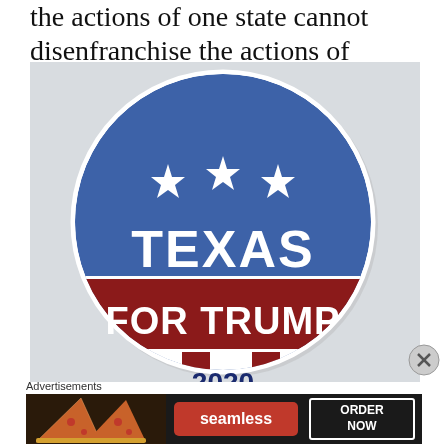the actions of one state cannot disenfranchise the actions of another.
[Figure (photo): A campaign button reading 'TEXAS FOR TRUMP 2020' with blue field, white stars, red and white stripes in American flag style]
Advertisements
[Figure (photo): Advertisement banner for Seamless food delivery service showing pizza slices on the left, a red 'seamless' logo in the middle, and a black-outlined 'ORDER NOW' button on the right]